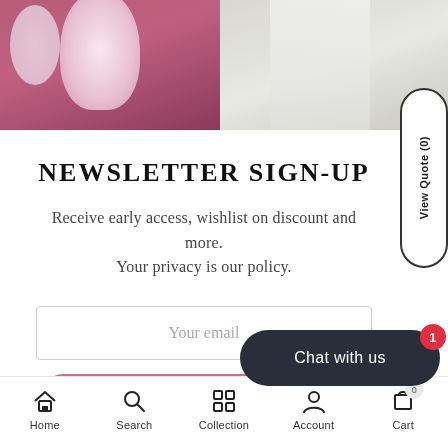[Figure (photo): Two fashion photos side by side: left shows a woman in a magenta/burgundy dress near white flowers, right shows a woman in a white/light gray outfit near a gate]
NEWSLETTER SIGN-UP
Receive early access, wishlist on discount and more. Your privacy is our policy.
[Figure (screenshot): Email input field with placeholder text 'Your email']
[Figure (screenshot): Pink rounded Subscribe button]
By subscribing, you acknowledge the terms of our Privacy Policy.
[Figure (screenshot): Dark rounded 'Chat with us' button with red badge showing count 1]
Home  Search  Collection  Account  Cart